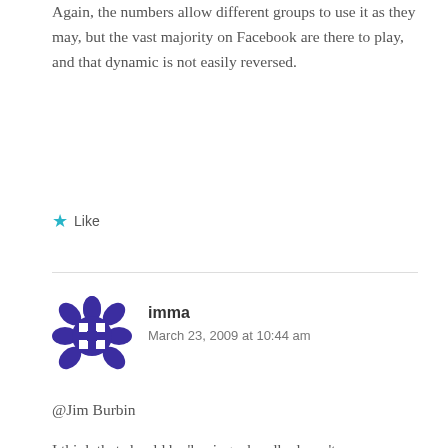Again, the numbers allow different groups to use it as they may, but the vast majority on Facebook are there to play, and that dynamic is not easily reversed.
★ Like
[Figure (illustration): Purple decorative avatar icon with geometric flower/snowflake pattern]
imma
March 23, 2009 at 10:44 am
@Jim Burbin
I think that should be 'having a handle doesn't *necessarily* change what people say' (example: me – i tend to be more timid) although that may vary